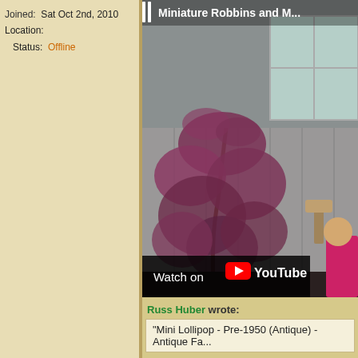Joined: Sat Oct 2nd, 2010
Location:
Status: Offline
[Figure (screenshot): YouTube video thumbnail showing a Japanese maple tree in a garden next to a grey wall and window, with a 'Watch on YouTube' overlay bar at the bottom. Video title partially visible: 'Miniature Robbins and M...']
Russ Huber wrote:
"Mini Lollipop - Pre-1950 (Antique) - Antique Fa...